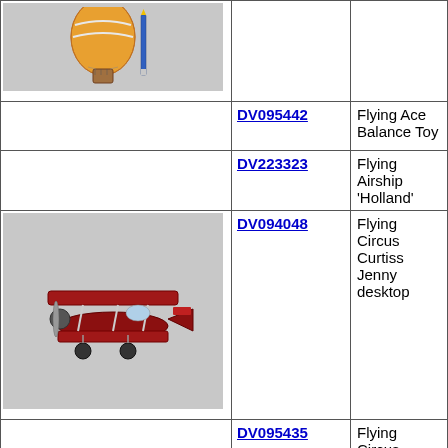| Image | ID | Name |
| --- | --- | --- |
| [balloon image] | DV095442 | Flying Ace Balance Toy |
|  | DV223323 | Flying Airship 'Holland' |
| [biplane image] | DV094048 | Flying Circus Curtiss Jenny desktop |
| [biplane image] | DV095435 | Flying Circus Jenny Airplane |
| [mobile image] | DV223967 | Flying the Skies Mobile Pastel |
| [image] | DV223966 | Flying the Skies Mobile Primary |